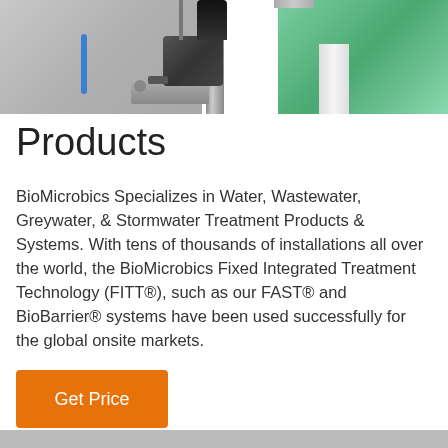[Figure (photo): Close-up photo of industrial water/wastewater treatment equipment showing pipes, fittings, a blue tube, and green cylindrical filter components mounted on a white frame with an EVPro label visible.]
Products
BioMicrobics Specializes in Water, Wastewater, Greywater, & Stormwater Treatment Products & Systems. With tens of thousands of installations all over the world, the BioMicrobics Fixed Integrated Treatment Technology (FITT®), such as our FAST® and BioBarrier® systems have been used successfully for the global onsite markets.
Get Price